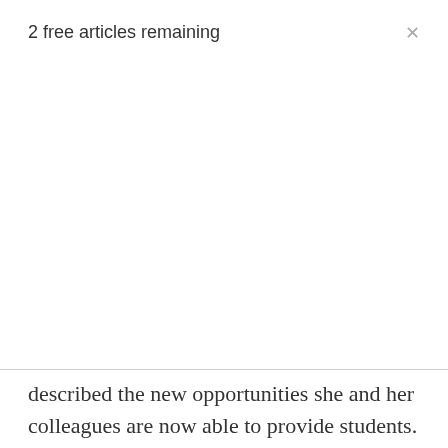2 free articles remaining
described the new opportunities she and her colleagues are now able to provide students.